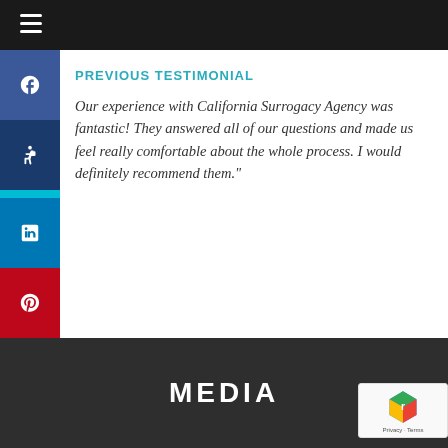PREVIOUS TESTIMONIAL
Our experience with California Surrogacy Agency was fantastic! They answered all of our questions and made us feel really comfortable about the whole process. I would definitely recommend them."
MEDIA